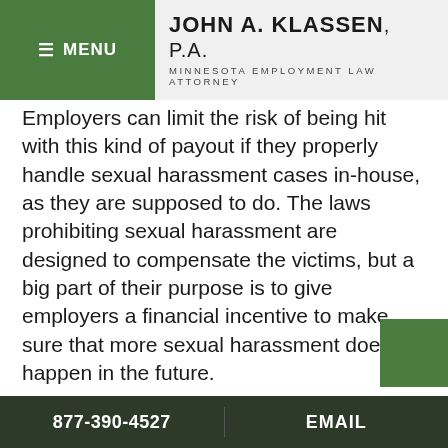MENU | JOHN A. KLASSEN, P.A. MINNESOTA EMPLOYMENT LAW ATTORNEY
Employers can limit the risk of being hit with this kind of payout if they properly handle sexual harassment cases in-house, as they are supposed to do. The laws prohibiting sexual harassment are designed to compensate the victims, but a big part of their purpose is to give employers a financial incentive to make sure that more sexual harassment does not happen in the future.
Minnesota workers may fear the hassle and risk of complaining about sexual harassment, but when they do not report it, employers have
877-390-4527   EMAIL